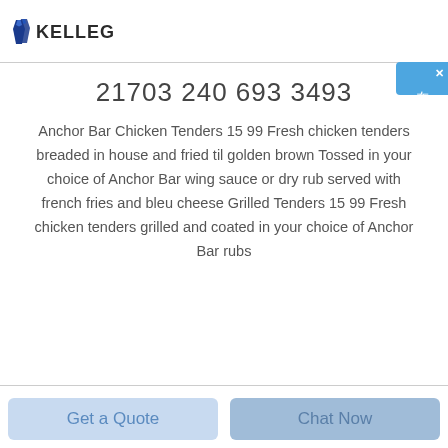KELLEG
21703 240 693 3493
Anchor Bar Chicken Tenders 15 99 Fresh chicken tenders breaded in house and fried til golden brown Tossed in your choice of Anchor Bar wing sauce or dry rub served with french fries and bleu cheese Grilled Tenders 15 99 Fresh chicken tenders grilled and coated in your choice of Anchor Bar rubs
Get a Quote | Chat Now